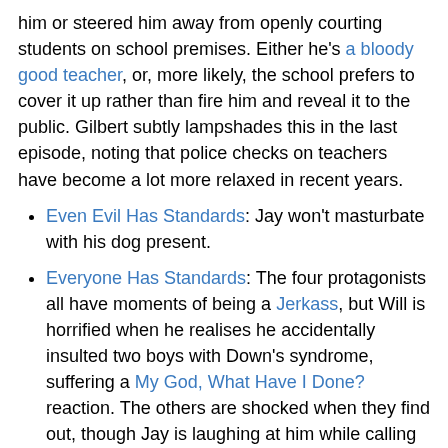him or steered him away from openly courting students on school premises. Either he's a bloody good teacher, or, more likely, the school prefers to cover it up rather than fire him and reveal it to the public. Gilbert subtly lampshades this in the last episode, noting that police checks on teachers have become a lot more relaxed in recent years.
Even Evil Has Standards: Jay won't masturbate with his dog present.
Everyone Has Standards: The four protagonists all have moments of being a Jerkass, but Will is horrified when he realises he accidentally insulted two boys with Down's syndrome, suffering a My God, What Have I Done? reaction. The others are shocked when they find out, though Jay is laughing at him while calling him out.
Everyone Looks Sexier if French: Patrice, Simon's French Foreign Exchange Student, only ever seems to talk about sex, and a number of women comment on how attractive